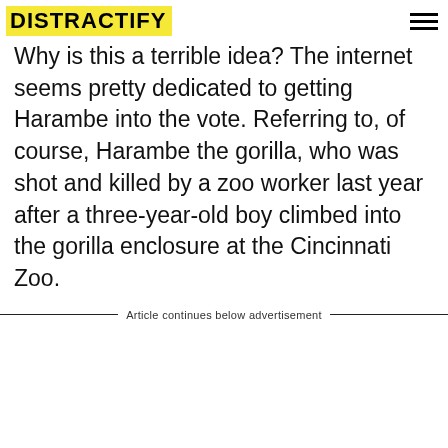DISTRACTIFY
Why is this a terrible idea? The internet seems pretty dedicated to getting Harambe into the vote. Referring to, of course, Harambe the gorilla, who was shot and killed by a zoo worker last year after a three-year-old boy climbed into the gorilla enclosure at the Cincinnati Zoo.
Article continues below advertisement